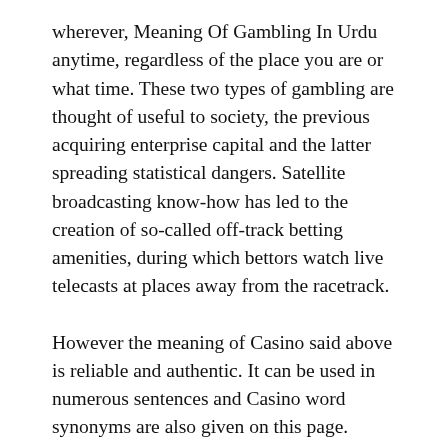wherever, Meaning Of Gambling In Urdu anytime, regardless of the place you are or what time. These two types of gambling are thought of useful to society, the previous acquiring enterprise capital and the latter spreading statistical dangers. Satellite broadcasting know-how has led to the creation of so-called off-track betting amenities, during which bettors watch live telecasts at places away from the racetrack.
However the meaning of Casino said above is reliable and authentic. It can be used in numerous sentences and Casino word synonyms are also given on this page. Dictionary is a useful device for everybody who needs to study a new word or desires to search out the meaning.
This is the massive supply of phrases and that present full details of the phrases and its relevant